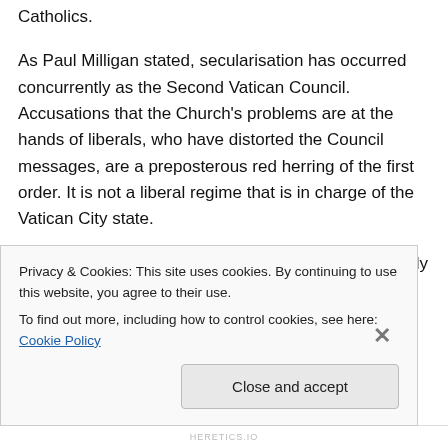Catholics.
As Paul Milligan stated, secularisation has occurred concurrently as the Second Vatican Council. Accusations that the Church's problems are at the hands of liberals, who have distorted the Council messages, are a preposterous red herring of the first order. It is not a liberal regime that is in charge of the Vatican City state.
What makes the realisation that secularisation is partly at the root of the church's problems is its
Privacy & Cookies: This site uses cookies. By continuing to use this website, you agree to their use.
To find out more, including how to control cookies, see here: Cookie Policy
Close and accept